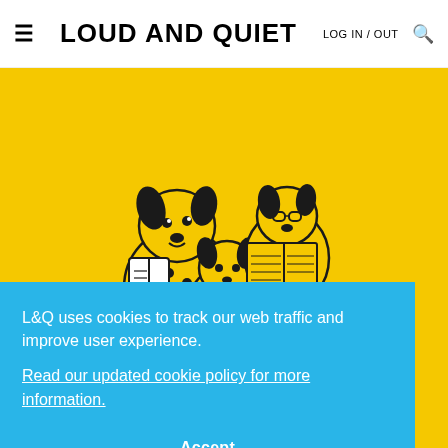≡  LOUD AND QUIET  LOG IN / OUT 🔍
[Figure (illustration): Cartoon illustration of three anthropomorphic dog characters reading books and magazines, on a yellow background]
Help keep Loud And Quiet
L&Q uses cookies to track our web traffic and improve user experience.
Read our updated cookie policy for more information.
Accept
We never want to charge artists and